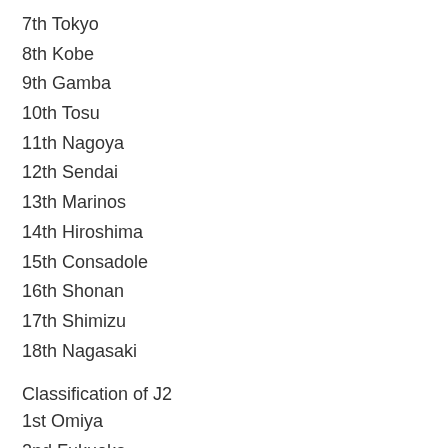7th Tokyo
8th Kobe
9th Gamba
10th Tosu
11th Nagoya
12th Sendai
13th Marinos
14th Hiroshima
15th Consadole
16th Shonan
17th Shimizu
18th Nagasaki
Classification of J2
1st Omiya
2nd Fukuoka
3rd Niigata
4th Kofu
5th Matsumoto
6th JEF
7th Tokushima